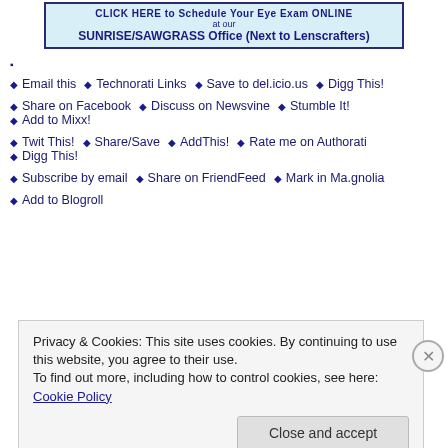[Figure (other): Banner ad: CLICK HERE to Schedule Your Eye Exam ONLINE at our SUNRISE/SAWGRASS Office (Next to Lenscrafters)]
•
◆ Email this  ◆ Technorati Links  ◆ Save to del.icio.us  ◆ Digg This!
◆ Share on Facebook  ◆ Discuss on Newsvine  ◆ Stumble It!  ◆ Add to Mixx!
◆ Twit This!  ◆ Share/Save  ◆ AddThis!  ◆ Rate me on Authorati  ◆ Digg This!
◆ Subscribe by email  ◆ Share on FriendFeed  ◆ Mark in Ma.gnolia
◆ Add to Blogroll
Privacy & Cookies: This site uses cookies. By continuing to use this website, you agree to their use.
To find out more, including how to control cookies, see here: Cookie Policy
Close and accept